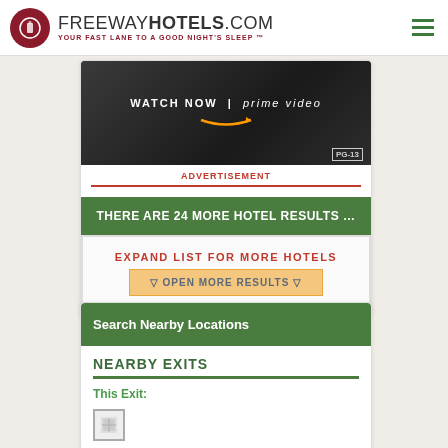FREEWAYHOTELS.COM - YOUR FAST LANE TO A GOOD NIGHT'S SLEEP ™
[Figure (screenshot): Amazon Prime Video advertisement banner showing 'WATCH NOW | prime video' text with PG-13 rating badge on dark background]
ADVERTISEMENT
THERE ARE 24 MORE HOTEL RESULTS …
EXPAND LIST FOR MORE HOTELS
▽ OPEN MORE RESULTS ▽
Search Nearby Locations
NEARBY EXITS
This Exit: